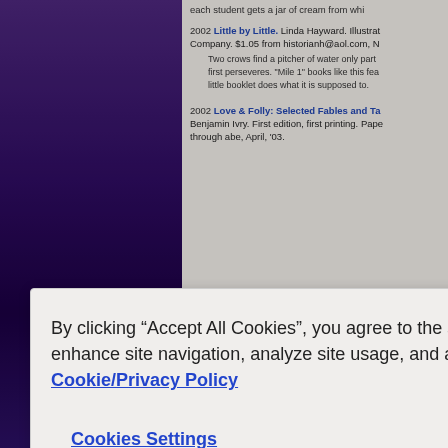each student gets a jar of cream from whi...
2002 Little by Little. Linda Hayward. Illustrat... Company. $1.05 from historianh@aol.com, N...
Two crows find a pitcher of water only part... first perseveres. "Mile 1" books like this fea... little booklet does what it is supposed to.
2002 Love & Folly: Selected Fables and Ta... Benjamin Ivry. First edition, first printing. Pape... through abe, April, '03.
By clicking “Accept All Cookies”, you agree to the storing of cookies on your device to enhance site navigation, analyze site usage, and assist in our marketing efforts. Cookie/Privacy Policy
Cookies Settings
Accept All Cookies
in the same store at the same time. Here w... illustration: BW; "The Rooster, the Dog, a...